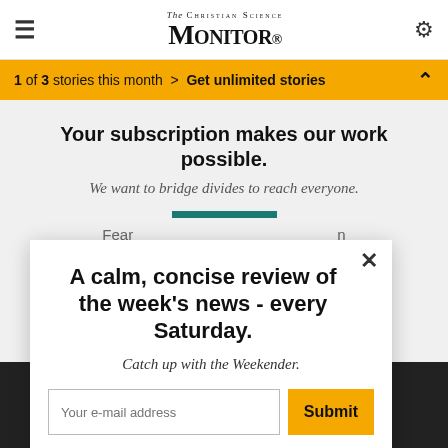The Christian Science Monitor
1 of 3 stories this month > Get unlimited stories
Your subscription makes our work possible.
We want to bridge divides to reach everyone.
[Figure (screenshot): Modal popup with newsletter signup: 'A calm, concise review of the week's news - every Saturday. Catch up with the Weekender.' with email input and Submit button]
This ... ality and ... site you ... e